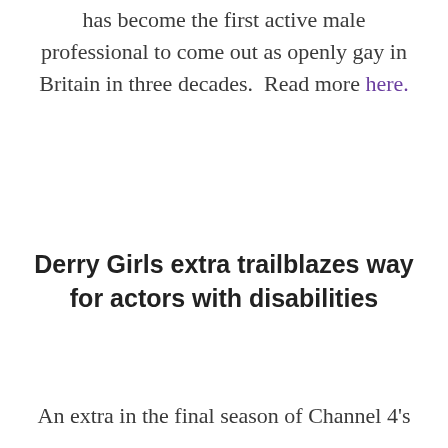has become the first active male professional to come out as openly gay in Britain in three decades.  Read more here.
Derry Girls extra trailblazes way for actors with disabilities
An extra in the final season of Channel 4's